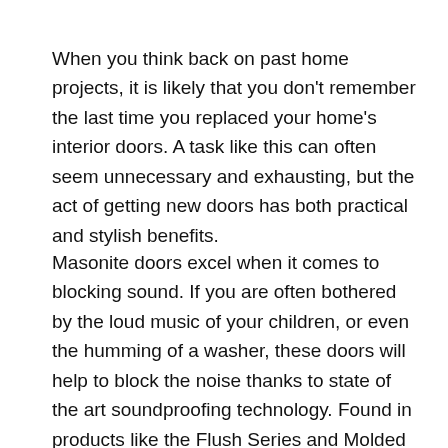When you think back on past home projects, it is likely that you don't remember the last time you replaced your home's interior doors. A task like this can often seem unnecessary and exhausting, but the act of getting new doors has both practical and stylish benefits.
Masonite doors excel when it comes to blocking sound. If you are often bothered by the loud music of your children, or even the humming of a washer, these doors will help to block the noise thanks to state of the art soundproofing technology. Found in products like the Flush Series and Molded Panel, Masonite doors are able to absorb pesky vibration and keep the peace in your home.